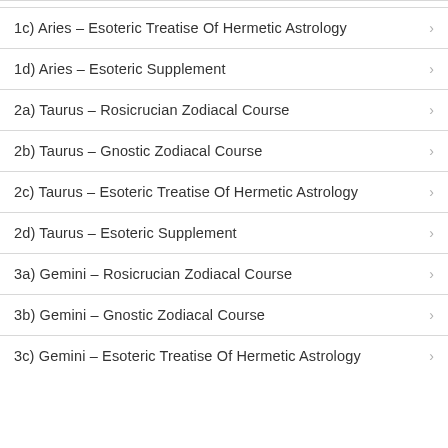1c) Aries – Esoteric Treatise Of Hermetic Astrology
1d) Aries – Esoteric Supplement
2a) Taurus – Rosicrucian Zodiacal Course
2b) Taurus – Gnostic Zodiacal Course
2c) Taurus – Esoteric Treatise Of Hermetic Astrology
2d) Taurus – Esoteric Supplement
3a) Gemini – Rosicrucian Zodiacal Course
3b) Gemini – Gnostic Zodiacal Course
3c) Gemini – Esoteric Treatise Of Hermetic Astrology